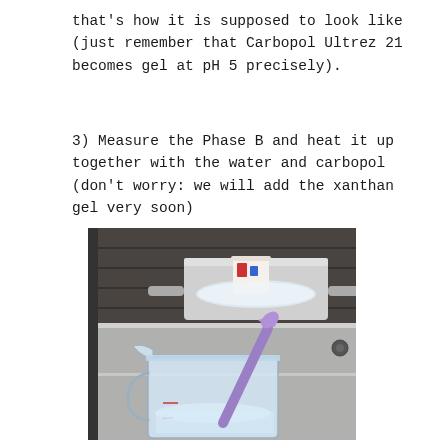that's how it is supposed to look like (just remember that Carbopol Ultrez 21 becomes gel at pH 5 precisely).
3) Measure the Phase B and heat it up together with the water and carbopol (don't worry: we will add the xanthan gel very soon)
[Figure (photo): A kitchen stove with a saucepan containing a small decorative cup/jar and a clear liquid, alongside a glass measuring jug with a purple silicone spatula resting in it on a metal baking tray.]